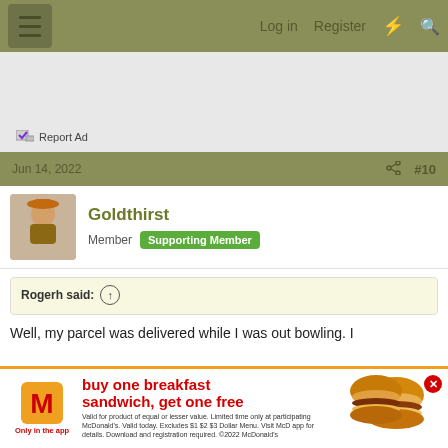☰  Log in  Register  ⚡  🔍
[Figure (screenshot): Gray advertisement banner area with Report Ad link at bottom left]
Report Ad
Jun 14, 2022  #10
Goldthirst
Member  Supporting Member
Rogerh said: ↑
Well, my parcel was delivered while I was out bowling. I
[Figure (infographic): McDonald's advertisement banner: buy one breakfast sandwich, get one free. Only in the app. Shows two breakfast sandwiches. Fine print: Valid for product of equal or lesser value. Limited time only at participating McDonald's. Valid today. Excludes $1 $2 $3 Dollar Menu. Visit McD app for details. Download and registration required. ©2022 McDonald's]